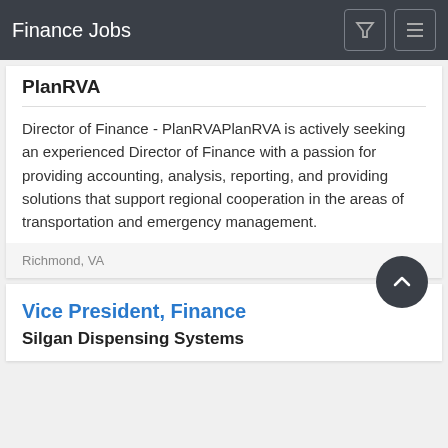Finance Jobs
PlanRVA
Director of Finance - PlanRVAPlanRVA is actively seeking an experienced Director of Finance with a passion for providing accounting, analysis, reporting, and providing solutions that support regional cooperation in the areas of transportation and emergency management.
Richmond, VA
Vice President, Finance
Silgan Dispensing Systems